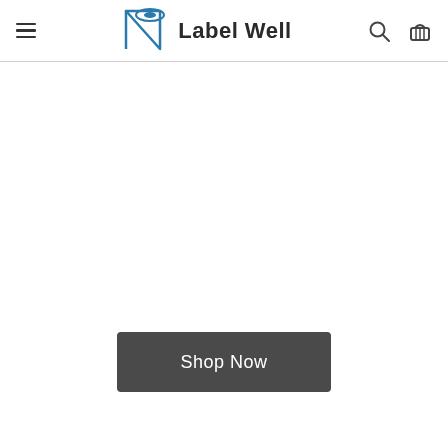Label Well
[Figure (logo): Label Well logo with a blue disc/roll graphic and text 'Label Well' in dark font]
Shop Now